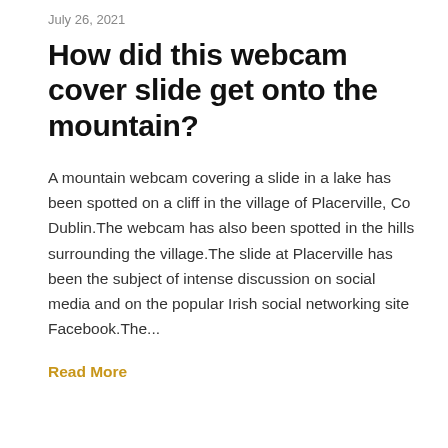July 26, 2021
How did this webcam cover slide get onto the mountain?
A mountain webcam covering a slide in a lake has been spotted on a cliff in the village of Placerville, Co Dublin.The webcam has also been spotted in the hills surrounding the village.The slide at Placerville has been the subject of intense discussion on social media and on the popular Irish social networking site Facebook.The...
Read More